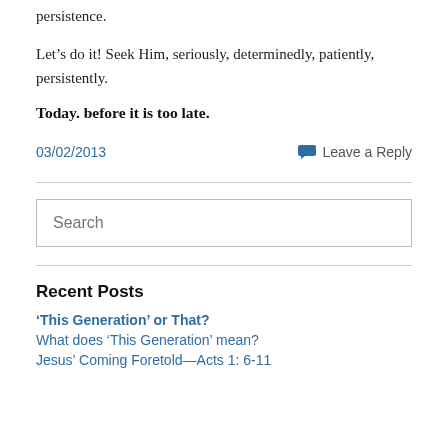persistence.
Let's do it! Seek Him, seriously, determinedly, patiently, persistently.
Today. before it is too late.
03/02/2013
Leave a Reply
Search
Recent Posts
'This Generation' or That?
What does 'This Generation' mean?
Jesus' Coming Foretold—Acts 1: 6-11